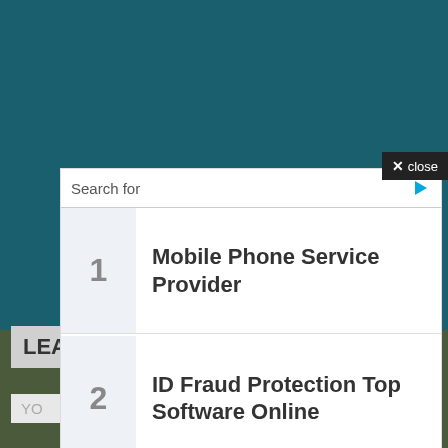[Figure (screenshot): Teal/dark background of a webpage behind an ad overlay]
✕ close
Search for
1  Mobile Phone Service Provider
2  ID Fraud Protection Top Software Online
Yahoo! Search | Sponsored
LEA
YO